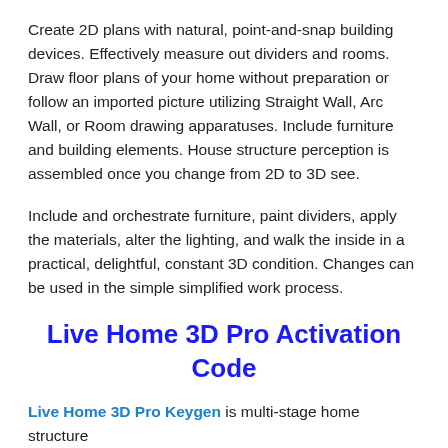Create 2D plans with natural, point-and-snap building devices. Effectively measure out dividers and rooms. Draw floor plans of your home without preparation or follow an imported picture utilizing Straight Wall, Arc Wall, or Room drawing apparatuses. Include furniture and building elements. House structure perception is assembled once you change from 2D to 3D see.
Include and orchestrate furniture, paint dividers, apply the materials, alter the lighting, and walk the inside in a practical, delightful, constant 3D condition. Changes can be used in the simple simplified work process.
Live Home 3D Pro Activation Code
Live Home 3D Pro Keygen is multi-stage home structure